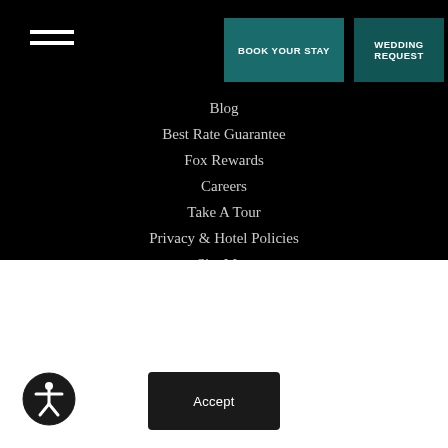[Figure (infographic): Hamburger menu icon (three horizontal white lines) in top-left on black background]
BOOK YOUR STAY
WEDDING REQUEST
Blog
Best Rate Guarantee
Fox Rewards
Careers
Take A Tour
Privacy & Hotel Policies
Site Map
Directions
Calendar
This website stores cookies on your computer. These cookies are used to collect information about how you interact with our website and allow us to remember you. We use this information in order to improve and customize your browsing experience and for analytics and metrics about our visitors both on this website and other media. To find out more about the cookies we use, see our Privacy Policy.
[Figure (other): Accessibility icon button — circular dark icon with person symbol]
Accept